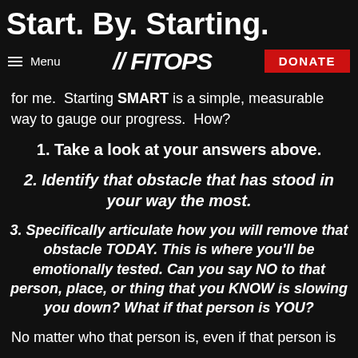Start. By. Starting.
≡ Menu   //FITOPS   DONATE
for me.  Starting SMART is a simple, measurable way to gauge our progress.  How?
1. Take a look at your answers above.
2. Identify that obstacle that has stood in your way the most.
3. Specifically articulate how you will remove that obstacle TODAY. This is where you'll be emotionally tested. Can you say NO to that person, place, or thing that you KNOW is slowing you down? What if that person is YOU?
No matter who that person is, even if that person is